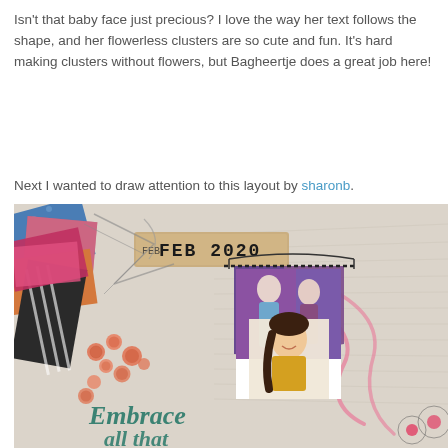Isn't that baby face just precious?  I love the way her text follows the shape, and her flowerless clusters are so cute and fun. It's hard making clusters without flowers, but Bagheertje does a great job here!
Next I wanted to draw attention to this layout by sharonb.
[Figure (photo): A digital scrapbook layout by sharonb featuring a child in front of a Frozen backdrop, with colorful patterned papers, buttons, and the text 'FEB 2020' and 'Embrace all that' visible]